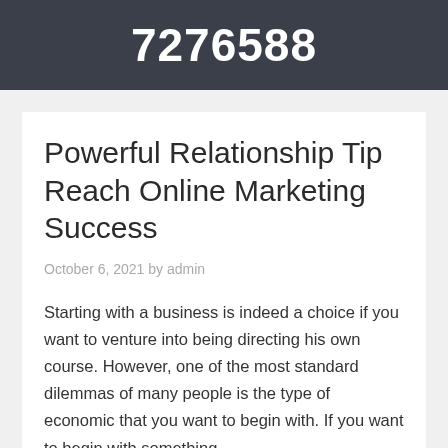7276588
Powerful Relationship Tip Reach Online Marketing Success
October 6, 2021 by admin
Starting with a business is indeed a choice if you want to venture into being directing his own course. However, one of the most standard dilemmas of many people is the type of economic that you want to begin with. If you want to begin with something